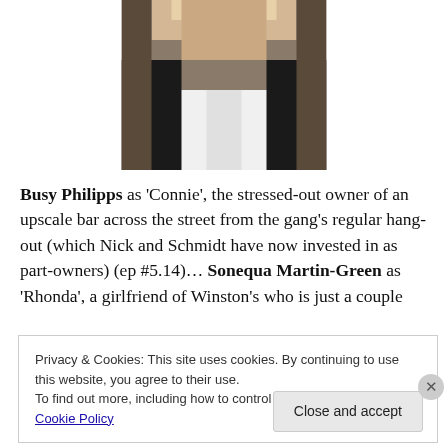[Figure (photo): Partial photo of a blonde woman wearing a white top and black jacket, cropped to show neck/chest area]
Busy Philipps as 'Connie', the stressed-out owner of an upscale bar across the street from the gang's regular hang-out (which Nick and Schmidt have now invested in as part-owners) (ep #5.14)… Sonequa Martin-Green as 'Rhonda', a girlfriend of Winston's who is just a couple
Privacy & Cookies: This site uses cookies. By continuing to use this website, you agree to their use.
To find out more, including how to control cookies, see here: Cookie Policy